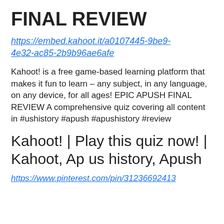FINAL REVIEW
https://embed.kahoot.it/a0107445-9be9-4e32-ac85-2b9b96ae6afe
Kahoot! is a free game-based learning platform that makes it fun to learn – any subject, in any language, on any device, for all ages! EPIC APUSH FINAL REVIEW A comprehensive quiz covering all content in #ushistory #apush #apushistory #review
Kahoot! | Play this quiz now! | Kahoot, Ap us history, Apush
https://www.pinterest.com/pin/31236692413